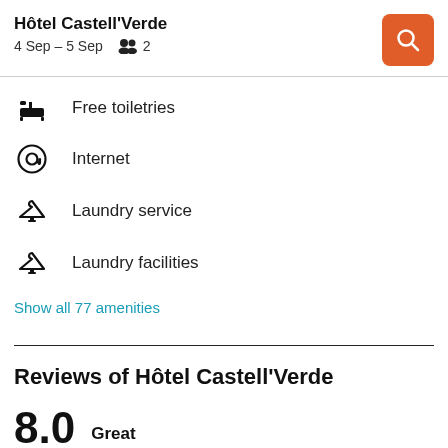Hôtel Castell'Verde
4 Sep – 5 Sep   2
Free toiletries
Internet
Laundry service
Laundry facilities
Show all 77 amenities
Reviews of Hôtel Castell'Verde
8.0   Great